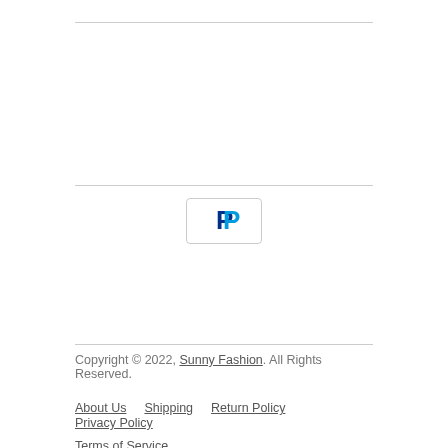[Figure (logo): PayPal payment button icon with blue P logo on white rounded rectangle]
Copyright © 2022, Sunny Fashion. All Rights Reserved.
About Us
Shipping
Return Policy
Privacy Policy
Terms of Service